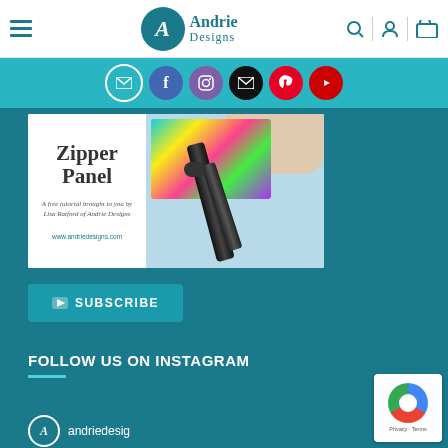Andrie Designs — navigation header with logo, hamburger menu, search, account, and cart icons
[Figure (screenshot): Social media icon bar with email, Facebook, Instagram, email (black), Pinterest, and YouTube circle buttons on teal background]
[Figure (photo): Tutorial thumbnail image showing 'Zipper Panel' text with subtitle 'A free tutorial brought to you by Lisa Ratford of Andrie Designs' and URL www.andriedesigns.com on left panel, and a colorful zipper strap on blue background on right panel]
[Figure (screenshot): YouTube Subscribe button in teal with play icon]
FOLLOW US ON INSTAGRAM
[Figure (screenshot): Instagram profile row showing Andrie Designs avatar and handle 'andriedesig']